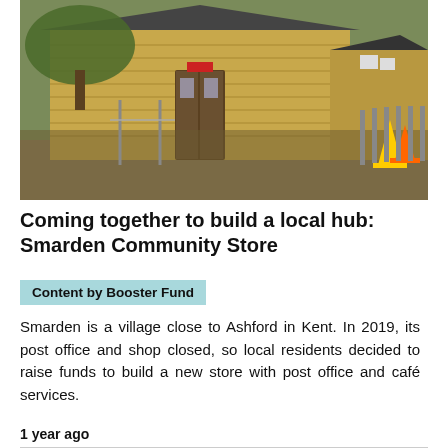[Figure (photo): Exterior of a small wooden building (Smarden Community Store) with horizontal timber cladding, double doors with a red sign, and yellow/orange traffic cones on the right side. Trees and shadows in the foreground.]
Coming together to build a local hub: Smarden Community Store
Content by Booster Fund
Smarden is a village close to Ashford in Kent. In 2019, its post office and shop closed, so local residents decided to raise funds to build a new store with post office and café services.
1 year ago